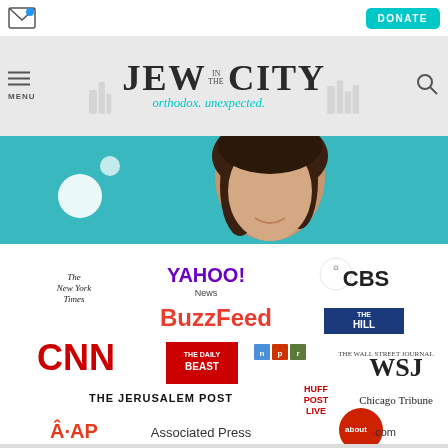[Figure (screenshot): Jew in the City website screenshot showing navigation bar with menu, logo, search, donate button, hero image of a woman, and media logos including The New York Times, Yahoo News, CBS, BuzzFeed, The Hill, CNN, The Daily Beast, NPR, WSJ, The Jerusalem Post, Huff Post Live, Chicago Tribune, Associated Press, and about.com]
[Figure (logo): Jew in the City logo with tagline 'orthodox. unexpected.' and city skyline silhouette]
[Figure (photo): Hero image of a woman with dark hair smiling against teal background with white circular graphic elements]
[Figure (infographic): Media logos: The New York Times, YAHOO! News, CBS, BuzzFeed, THE HILL, CNN, THE DAILY BEAST, npr, WSJ (Wall Street Journal), THE JERUSALEM POST, HUFF POST LIVE, Chicago Tribune, AP Associated Press, about.com]